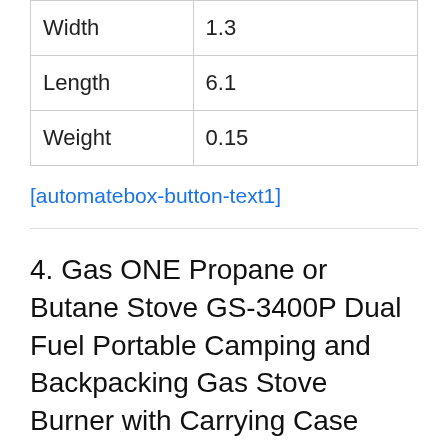| Width | 1.3 |
| Length | 6.1 |
| Weight | 0.15 |
[automatebox-button-text1]
4. Gas ONE Propane or Butane Stove GS-3400P Dual Fuel Portable Camping and Backpacking Gas Stove Burner with Carrying Case Great for Emergency Preparedness Kit